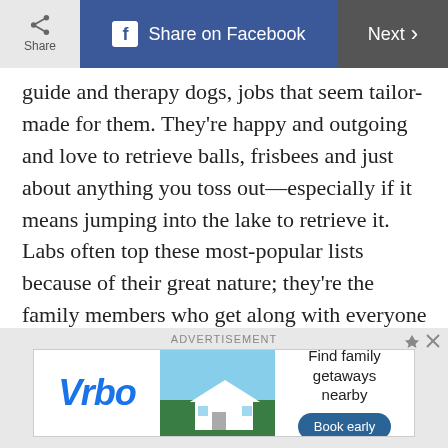Share | Share on Facebook | Next
guide and therapy dogs, jobs that seem tailor-made for them. They're happy and outgoing and love to retrieve balls, frisbees and just about anything you toss out—especially if it means jumping into the lake to retrieve it. Labs often top these most-popular lists because of their great nature; they're the family members who get along with everyone and are some of the best dogs for first-time owners. They are blissfully content to cozy up to one family member or plop down in the middle of the kids sprawled out on the floor.
[Figure (screenshot): Vrbo advertisement banner with vacation rental home image, tagline 'Find family getaways nearby' and 'Book early' button]